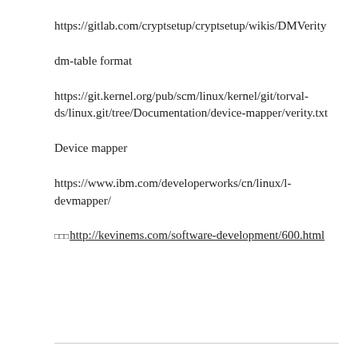https://gitlab.com/cryptsetup/cryptsetup/wikis/DMVerity
dm-table format
https://git.kernel.org/pub/scm/linux/kernel/git/torvalds/linux.git/tree/Documentation/device-mapper/verity.txt
Device mapper
https://www.ibm.com/developerworks/cn/linux/l-devmapper/
□□□http://kevinems.com/software-development/600.html